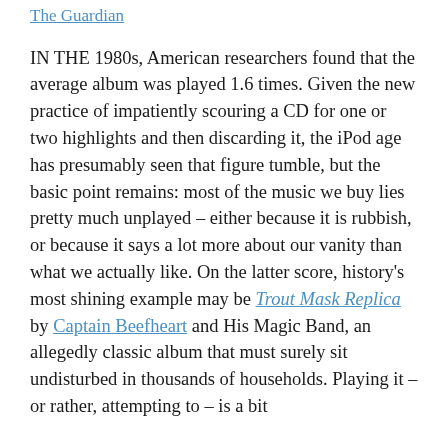The Guardian
IN THE 1980s, American researchers found that the average album was played 1.6 times. Given the new practice of impatiently scouring a CD for one or two highlights and then discarding it, the iPod age has presumably seen that figure tumble, but the basic point remains: most of the music we buy lies pretty much unplayed – either because it is rubbish, or because it says a lot more about our vanity than what we actually like. On the latter score, history's most shining example may be Trout Mask Replica by Captain Beefheart and His Magic Band, an allegedly classic album that must surely sit undisturbed in thousands of households. Playing it – or rather, attempting to – is a bit